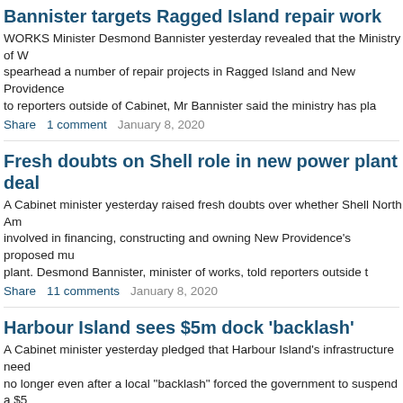Bannister targets Ragged Island repair work
WORKS Minister Desmond Bannister yesterday revealed that the Ministry of W spearhead a number of repair projects in Ragged Island and New Providence to reporters outside of Cabinet, Mr Bannister said the ministry has pla
Share   1 comment   January 8, 2020
Fresh doubts on Shell role in new power plant deal
A Cabinet minister yesterday raised fresh doubts over whether Shell North Am involved in financing, constructing and owning New Providence's proposed mu plant. Desmond Bannister, minister of works, told reporters outside t
Share   11 comments   January 8, 2020
Harbour Island sees $5m dock 'backlash'
A Cabinet minister yesterday pledged that Harbour Island's infrastructure need no longer even after a local "backlash" forced the government to suspend a $5 Desmond Bannister, minister of works, acknowledged to Trib
Share   2 comments   December 30, 2019
Senate passes rate reduction bond bill
THE Electricity Rate Reduction Bond Act 2019 was passed in the Senate yesto which will replace a similar piece of legislation passed previously by the forme administration, allows for Bahamas Power and Light to adjust its rat
Share   2 comments   December 10, 2019